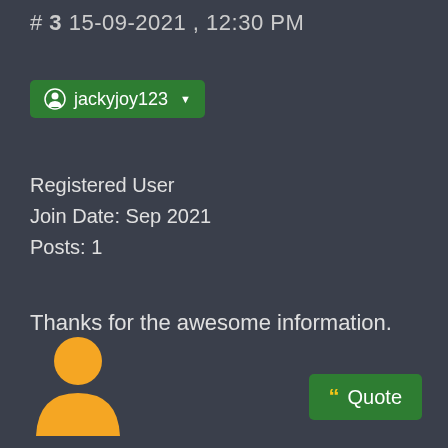# 3 15-09-2021 , 12:30 PM
jackyjoy123
Registered User
Join Date: Sep 2021
Posts: 1
Thanks for the awesome information.
[Figure (illustration): Yellow user avatar silhouette (head and shoulders)]
Quote